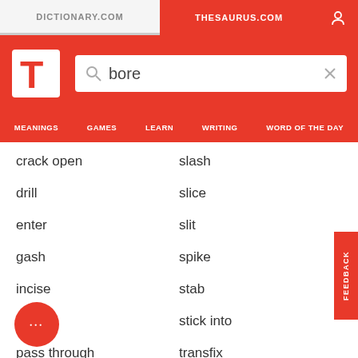DICTIONARY.COM | THESAURUS.COM
bore
MEANINGS | GAMES | LEARN | WRITING | WORD OF THE DAY
crack open
slash
drill
slice
enter
slit
gash
spike
incise
stab
intrude
stick into
pass through
transfix